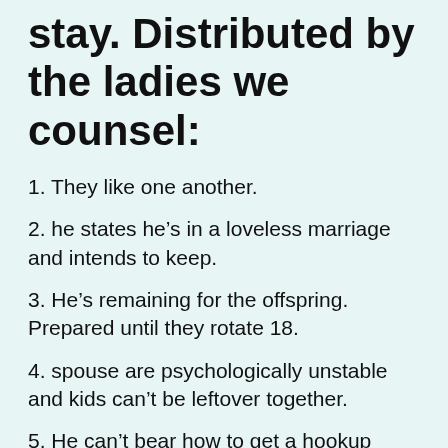stay. Distributed by the ladies we counsel:
1. They like one another.
2. he states he’s in a loveless marriage and intends to keep.
3. He’s remaining for the offspring. Prepared until they rotate 18.
4. spouse are psychologically unstable and kids can’t be leftover together.
5. He can’t bear how to get a hookup Durham